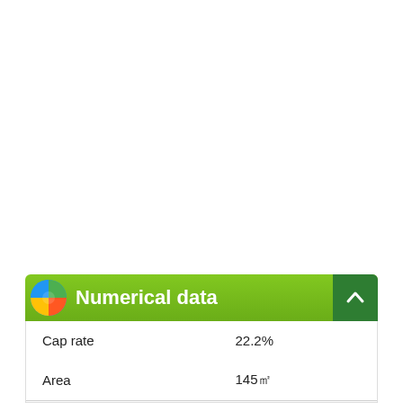Numerical data
|  |  |
| --- | --- |
| Cap rate | 22.2% |
| Area | 145㎡ |
| Gross yield | 30.5% |